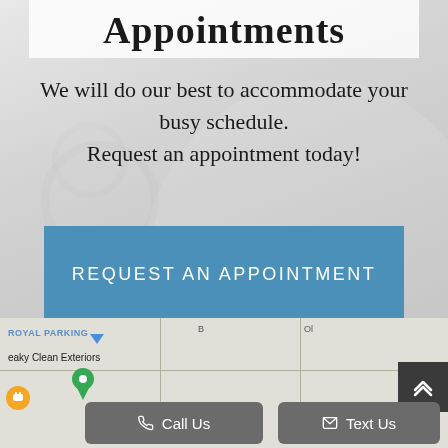Appointments
We will do our best to accommodate your busy schedule.
Request an appointment today!
REQUEST AN APPOINTMENT
[Figure (map): Google Maps snippet showing local area with ROYAL PARKING label, squeaky Clean Exteriors label, green map pin marker, and orange food/coffee icon]
Call Us
Text Us